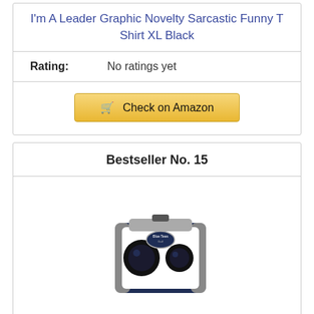I'm A Leader Graphic Novelty Sarcastic Funny T Shirt XL Black
Rating: No ratings yet
Check on Amazon
Bestseller No. 15
[Figure (photo): Blue Tees Golf Series 2 Pro Laser Rangefinder device, navy blue and white handheld unit]
Blue Tees Golf Series 2 Pro Laser Rangefinder